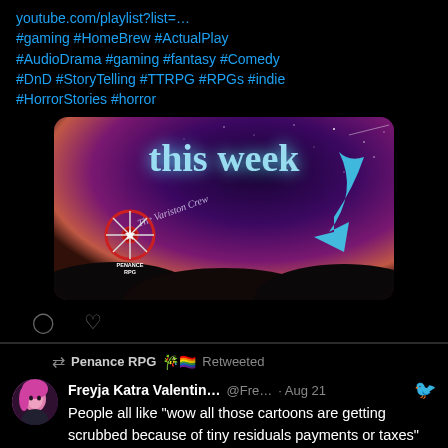youtube.com/playlist?list=… #gaming #HomeBrew #ActualPlay #AudioDrama #gaming #fantasy #Comedy #DnD #StoryTelling #TTRPG #RPGs #indie #HorrorStories #horror
[Figure (screenshot): Promotional image with purple/pink galaxy sky background, text 'this week' in glowing blue font, The Variston Crew text, a ship wheel logo with 'Penance RPG', and a large blue arrow pointing down-left. Silhouetted hills at bottom.]
Penance RPG 🎋🏳️‍🌈 Retweeted
Freyja Katra Valentin... @Fre… · Aug 21
People all like "wow all those cartoons are getting scrubbed because of tiny residuals payments or taxes" and I'm like don't be silly